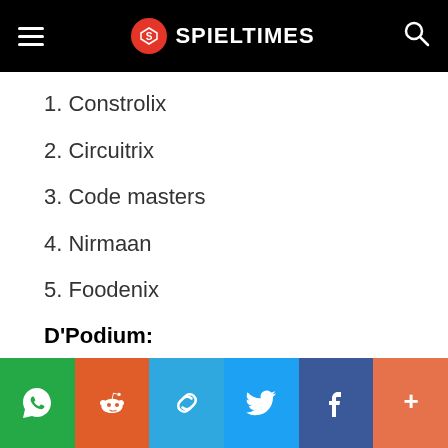SPIELTIMES
1. Constrolix
2. Circuitrix
3. Code masters
4. Nirmaan
5. Foodenix
D'Podium:
Social share bar: WhatsApp, Reddit, Link, Twitter, Facebook, More